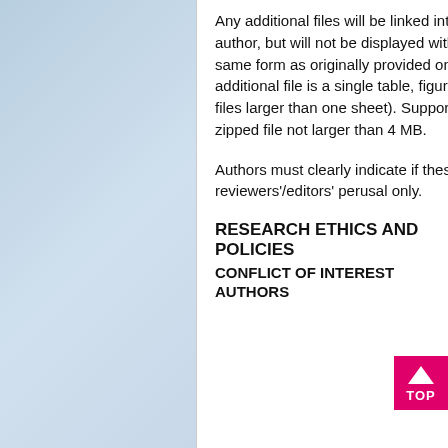Any additional files will be linked into the final published article in the form supplied by the author, but will not be displayed within the paper. They will be made available in exactly the same form as originally provided only on our Web site. Please also make sure that each additional file is a single table, figure or movie (please do not upload linked worksheets or PDF files larger than one sheet). Supportive/ Supplementary material must be provided in a single zipped file not larger than 4 MB.
Authors must clearly indicate if these files are not for publication but meant for the reviewers'/editors' perusal only.
RESEARCH ETHICS AND POLICIES
CONFLICT OF INTEREST
AUTHORS